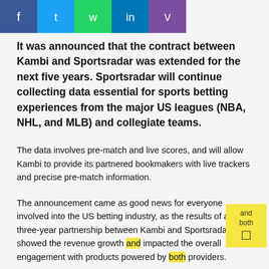[Figure (other): Social media share buttons: Facebook (blue), Twitter (light blue), WhatsApp (green), LinkedIn (blue), Viber (purple)]
It was announced that the contract between Kambi and Sportsradar was extended for the next five years. Sportsradar will continue collecting data essential for sports betting experiences from the major US leagues (NBA, NHL, and MLB) and collegiate teams.
The data involves pre-match and live scores, and will allow Kambi to provide its partnered bookmakers with live trackers and precise pre-match information.
The announcement came as good news for everyone involved into the US betting industry, as the results of a three-year partnership between Kambi and Sportsrada showed the revenue growth and impacted the overall engagement with products powered by both providers.
Besides Sportsradar, Kambi also partners directly with top US